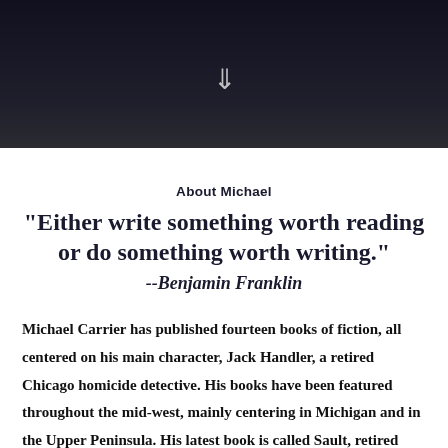[Figure (photo): Dark moody photograph of a person in a dark jacket, partially visible, with a downward arrow icon overlay in the center]
About Michael
"Either write something worth reading or do something worth writing."
--Benjamin Franklin
Michael Carrier has published fourteen books of fiction, all centered on his main character, Jack Handler, a retired Chicago homicide detective. His books have been featured throughout the mid-west, mainly centering in Michigan and in the Upper Peninsula. His latest book is called Sault, retired